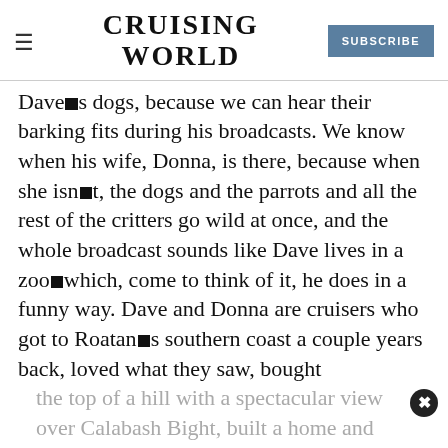CRUISING WORLD | SUBSCRIBE
Dave’s dogs, because we can hear their barking fits during his broadcasts. We know when his wife, Donna, is there, because when she isn’t, the dogs and the parrots and all the rest of the critters go wild at once, and the whole broadcast sounds like Dave lives in a zoo—which, come to think of it, he does in a funny way. Dave and Donna are cruisers who got to Roatan’s southern coast a couple years back, loved what they saw, bought the top of a hill with a spectacular view over Calabash Bight, built a home and